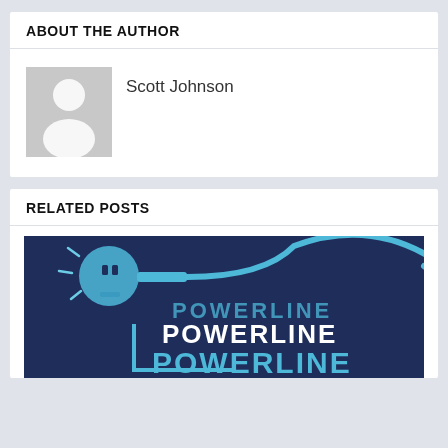ABOUT THE AUTHOR
[Figure (illustration): Default user avatar placeholder — grey square with white silhouette of a person]
Scott Johnson
RELATED POSTS
[Figure (illustration): Powerline podcast/brand logo on dark navy background with light blue electric plug/bulb graphic and stacked POWERLINE text in three sizes]